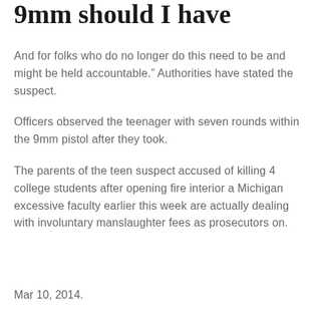9mm should I have
And for folks who do no longer do this need to be and might be held accountable.” Authorities have stated the suspect.
Officers observed the teenager with seven rounds within the 9mm pistol after they took.
The parents of the teen suspect accused of killing 4 college students after opening fire interior a Michigan excessive faculty earlier this week are actually dealing with involuntary manslaughter fees as prosecutors on.
Mar 10, 2014.